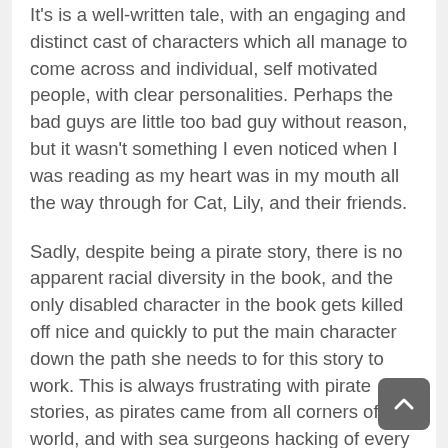It's is a well-written tale, with an engaging and distinct cast of characters which all manage to come across and individual, self motivated people, with clear personalities. Perhaps the bad guys are little too bad guy without reason, but it wasn't something I even noticed when I was reading as my heart was in my mouth all the way through for Cat, Lily, and their friends.
Sadly, despite being a pirate story, there is no apparent racial diversity in the book, and the only disabled character in the book gets killed off nice and quickly to put the main character down the path she needs to for this story to work. This is always frustrating with pirate stories, as pirates came from all corners of the world, and with sea surgeons hacking of every other limb to stop gangrene, there were plenty of seafarers who weren't as able bodied as the cast of this story.
I grow up on the British coast and this story made